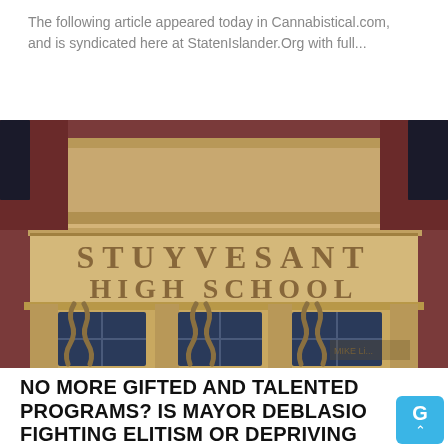The following article appeared today in Cannabistical.com, and is syndicated here at StatenIslander.Org with full...
[Figure (photo): Photograph of the exterior facade of Stuyvesant High School building, showing stone carvings with the school name 'STUYVESANT HIGH SCHOOL' engraved in large letters, with decorative architectural elements and windows with chains visible below.]
NO MORE GIFTED AND TALENTED PROGRAMS? IS MAYOR DEBLASIO FIGHTING ELITISM OR DEPRIVING STUDENTS?